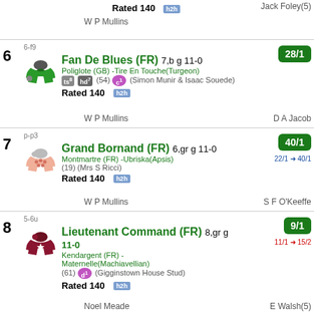Rated 140  h2h  W P Mullins  Jack Foley(5)
6  6-f9  Fan De Blues (FR) 7,b g 11-0  Poliglote (GB) - Tire En Touche(Turgeon)  ts8 hd7 (54) c1 (Simon Munir & Isaac Souede)  Rated 140 h2h  W P Mullins  D A Jacob  28/1
7  p-p3  Grand Bornand (FR) 6,gr g 11-0  Montmartre (FR) - Ubriska(Apsis)  (19) (Mrs S Ricci)  Rated 140 h2h  W P Mullins  S F O'Keeffe  40/1  22/1 → 40/1
8  5-6u  Lieutenant Command (FR) 8,gr g 11-0  Kendargent (FR) - Maternelle(Machiavellian)  (61) d1 (Gigginstown House Stud)  Rated 140 h2h  Noel Meade  E Walsh(5)  9/1  11/1 → 15/2
9  2-42  Busselton (FR) 5,b g 10-12  9/1